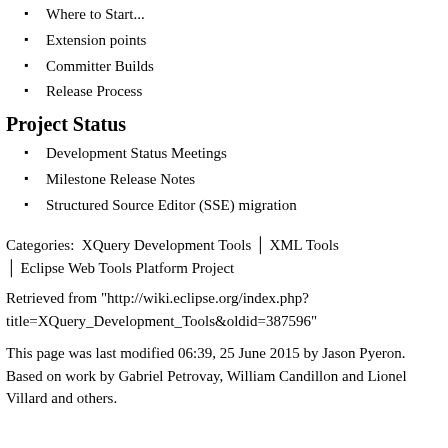Where to Start...
Extension points
Committer Builds
Release Process
Project Status
Development Status Meetings
Milestone Release Notes
Structured Source Editor (SSE) migration
Categories:  XQuery Development Tools | XML Tools | Eclipse Web Tools Platform Project
Retrieved from "http://wiki.eclipse.org/index.php?title=XQuery_Development_Tools&oldid=387596"
This page was last modified 06:39, 25 June 2015 by Jason Pyeron. Based on work by Gabriel Petrovay, William Candillon and Lionel Villard and others.